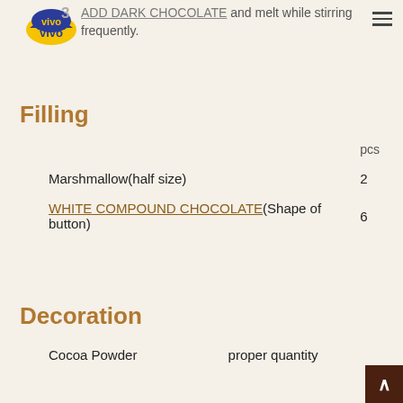3 Add DARK CHOCOLATE and melt while stirring frequently.
Filling
|  | pcs |
| --- | --- |
| Marshmallow(half size) | 2 |
| WHITE COMPOUND CHOCOLATE(Shape of button) | 6 |
Decoration
| Cocoa Powder | proper quantity |